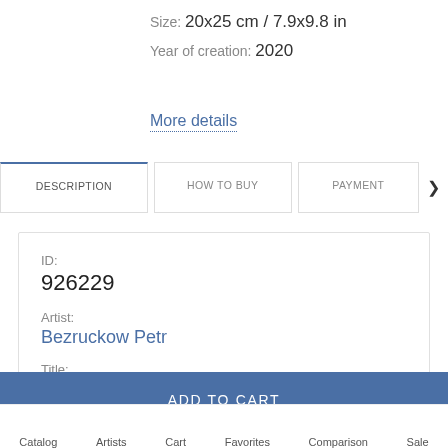Size: 20x25 cm / 7.9x9.8 in
Year of creation: 2020
More details
DESCRIPTION | HOW TO BUY | PAYMENT
ID:
926229
Artist:
Bezruckow Petr
Title:
ADD TO CART
Catalog  Artists  Cart  Favorites  Comparison  Sale